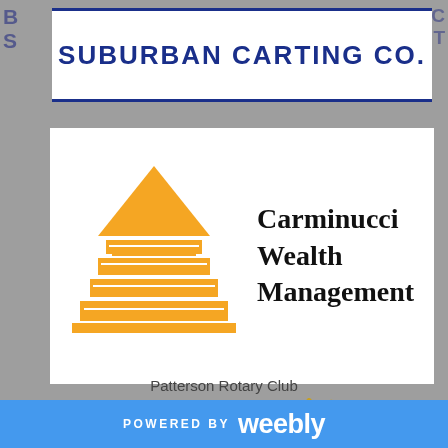[Figure (logo): Suburban Carting Co. logo - dark blue text on white background with double border lines]
[Figure (logo): Carminucci Wealth Management logo - orange pyramid/triangle graphic with bold serif text]
[Figure (logo): Rotary logo - blue wordmark 'Rotary' with gold gear wheel]
Patterson Rotary Club
POWERED BY weebly